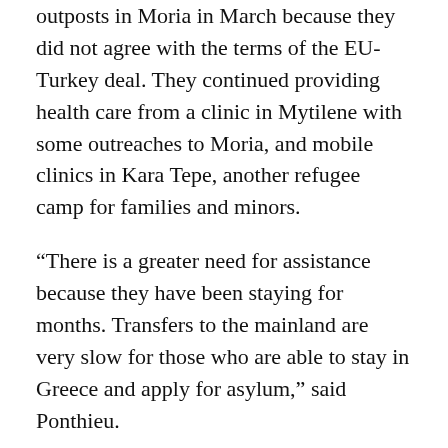outposts in Moria in March because they did not agree with the terms of the EU-Turkey deal. They continued providing health care from a clinic in Mytilene with some outreaches to Moria, and mobile clinics in Kara Tepe, another refugee camp for families and minors.
“There is a greater need for assistance because they have been staying for months. Transfers to the mainland are very slow for those who are able to stay in Greece and apply for asylum,” said Ponthieu.
“There is no clear understanding of how long they will stay on the island. It’s going to be more and more difficult with winter which is now here, and the cold weather.”